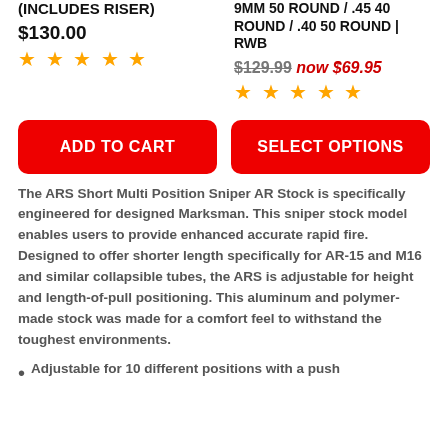(INCLUDES RISER)
9MM 50 ROUND / .45 40 ROUND / .40 50 ROUND | RWB
$130.00
★★★★★
$129.99 now $69.95
★★★★★
ADD TO CART
SELECT OPTIONS
The ARS Short Multi Position Sniper AR Stock is specifically engineered for designed Marksman. This sniper stock model enables users to provide enhanced accurate rapid fire. Designed to offer shorter length specifically for AR-15 and M16 and similar collapsible tubes, the ARS is adjustable for height and length-of-pull positioning. This aluminum and polymer-made stock was made for a comfort feel to withstand the toughest environments.
Adjustable for 10 different positions with a push